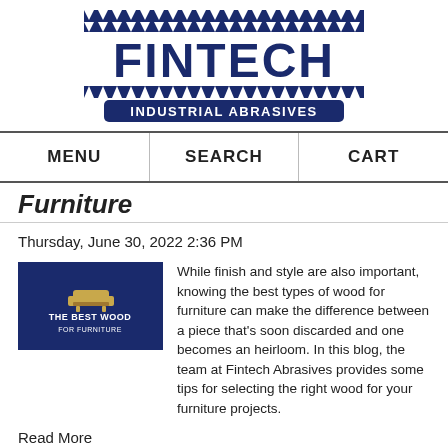[Figure (logo): Fintech Industrial Abrasives logo — navy blue text FINTECH with sawtooth top and bottom borders, and a navy rounded rectangle with white text INDUSTRIAL ABRASIVES]
MENU    SEARCH    CART
Furniture
Thursday, June 30, 2022 2:36 PM
[Figure (illustration): Dark blue thumbnail image with gold furniture icon and text THE BEST WOOD FOR FURNITURE]
While finish and style are also important, knowing the best types of wood for furniture can make the difference between a piece that's soon discarded and one becomes an heirloom. In this blog, the team at Fintech Abrasives provides some tips for selecting the right wood for your furniture projects.
Read More